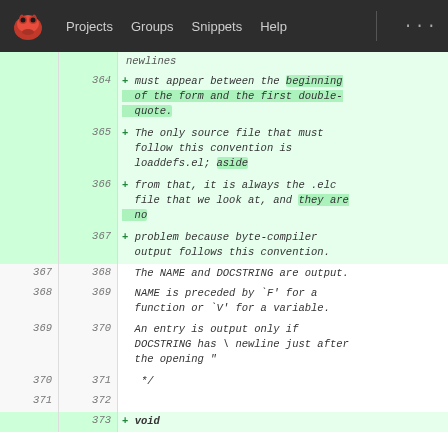Projects  Groups  Snippets  Help
[Figure (screenshot): Git diff view showing code changes in a source file. Lines 364-373 shown with added lines (green background) and context lines. Content includes comments about newlines, form conventions, loaddefs.el, byte-compiler output, and a void keyword.]